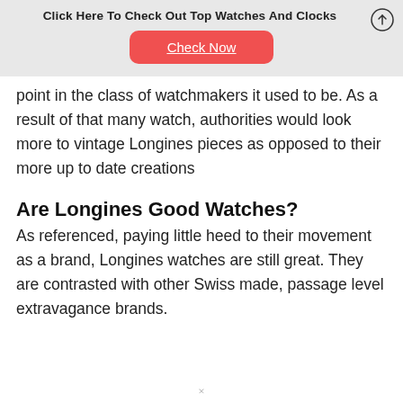Click Here To Check Out Top Watches And Clocks
[Figure (other): Red rounded button with white underlined text 'Check Now']
point in the class of watchmakers it used to be. As a result of that many watch, authorities would look more to vintage Longines pieces as opposed to their more up to date creations
Are Longines Good Watches?
As referenced, paying little heed to their movement as a brand, Longines watches are still great. They are contrasted with other Swiss made, passage level extravagance brands.
×